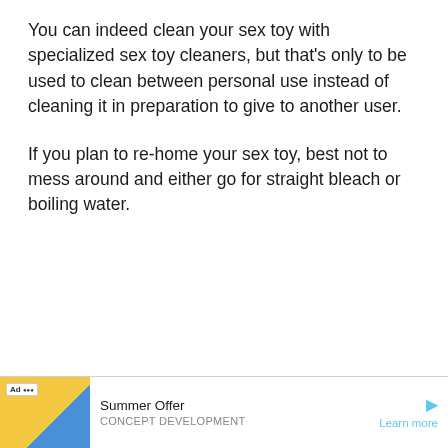You can indeed clean your sex toy with specialized sex toy cleaners, but that's only to be used to clean between personal use instead of cleaning it in preparation to give to another user.
If you plan to re-home your sex toy, best not to mess around and either go for straight bleach or boiling water.
[Figure (other): Advertisement banner at the bottom with a yellow and blue background image on the left, 'Ad' badge, 'Summer Offer' text, 'CONCEPT DEVELOPMENT' subtext, and 'Learn more' link with a play arrow icon.]